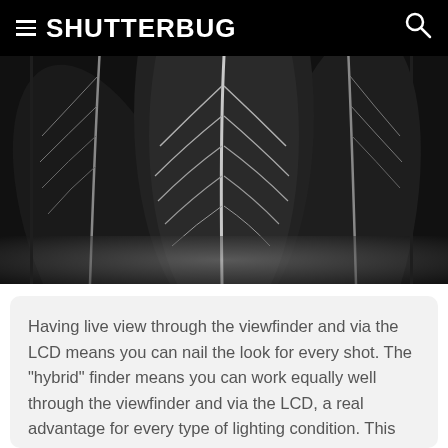SHUTTERBUG
[Figure (photo): Close-up black and white photograph of large tropical leaves with prominent white veins, high contrast monochrome style]
Having live view through the viewfinder and via the LCD means you can nail the look for every shot. The "hybrid" finder means you can work equally well through the viewfinder and via the LCD, a real advantage for every type of lighting condition. This photo was made with the Acros black-and-white preset